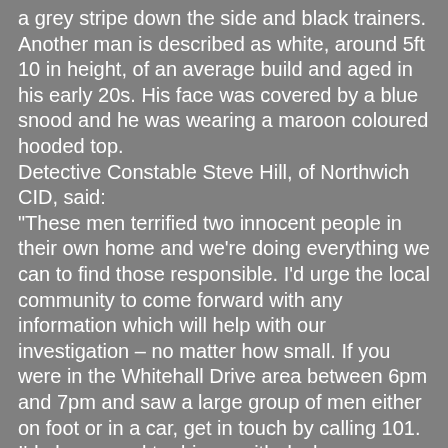a grey stripe down the side and black trainers. Another man is described as white, around 5ft 10 in height, of an average build and aged in his early 20s. His face was covered by a blue snood and he was wearing a maroon coloured hooded top.
Detective Constable Steve Hill, of Northwich CID, said:
"These men terrified two innocent people in their own home and we're doing everything we can to find those responsible. I'd urge the local community to come forward with any information which will help with our investigation – no matter how small. If you were in the Whitehall Drive area between 6pm and 7pm and saw a large group of men either on foot or in a car, get in touch by calling 101. I'd also appeal to drivers with dashcam footage to make contact with officers."
Anyone with information should contact Cheshire Police on 101 or via https://www.cheshire.police.uk/contact/general-enquiries/ quoting IML 268054. If you have dashcam footage please submit by following the instructions in this link https://www.cheshire.police.uk/advice-and-support/roads-and-vehicle-safety/submit-dashcam-footage/ making sure you quote IML 268054.